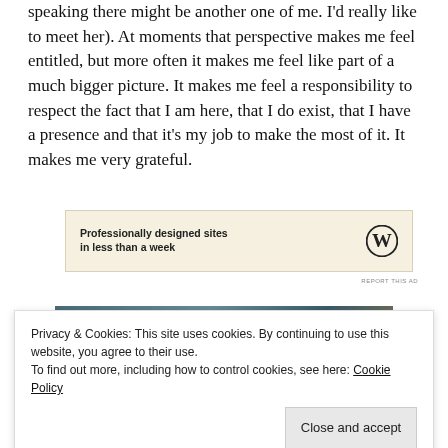speaking there might be another one of me. I'd really like to meet her). At moments that perspective makes me feel entitled, but more often it makes me feel like part of a much bigger picture. It makes me feel a responsibility to respect the fact that I am here, that I do exist, that I have a presence and that it's my job to make the most of it. It makes me very grateful.
[Figure (other): WordPress advertisement banner: 'Professionally designed sites in less than a week' with WordPress logo]
[Figure (photo): Photo strip showing a street scene with Carnaby label visible]
Privacy & Cookies: This site uses cookies. By continuing to use this website, you agree to their use.
To find out more, including how to control cookies, see here: Cookie Policy